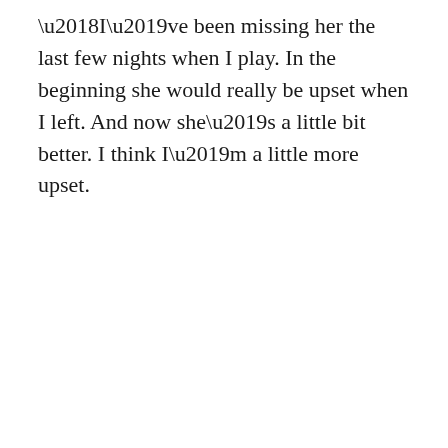‘I’ve been missing her the last few nights when I play. In the beginning she would really be upset when I left. And now she’s a little bit better. I think I’m a little more upset.